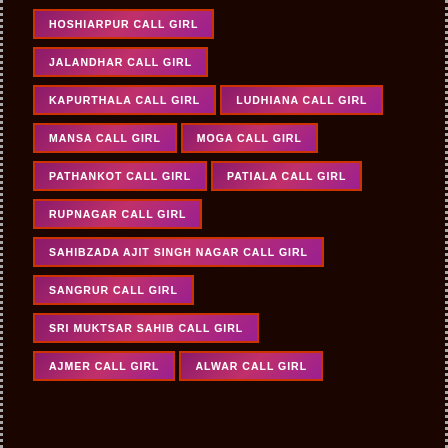HOSHIARPUR CALL GIRL
JALANDHAR CALL GIRL
KAPURTHALA CALL GIRL
LUDHIANA CALL GIRL
MANSA CALL GIRL
MOGA CALL GIRL
PATHANKOT CALL GIRL
PATIALA CALL GIRL
RUPNAGAR CALL GIRL
SAHIBZADA AJIT SINGH NAGAR CALL GIRL
SANGRUR CALL GIRL
SRI MUKTSAR SAHIB CALL GIRL
AJMER CALL GIRL
ALWAR CALL GIRL